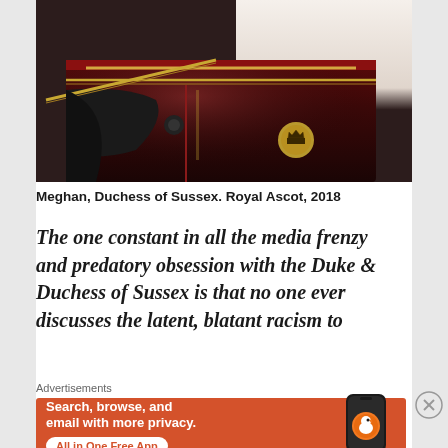[Figure (photo): Partial photo of Meghan, Duchess of Sussex in a carriage at Royal Ascot, 2018. Shows a dark lacquered carriage with gold royal crest emblem, red interior trim, and a person in white visible at top right.]
Meghan, Duchess of Sussex. Royal Ascot, 2018
The one constant in all the media frenzy and predatory obsession with the Duke & Duchess of Sussex is that no one ever discusses the latent, blatant racism to
[Figure (screenshot): DuckDuckGo advertisement banner with orange background. Text reads: Search, browse, and email with more privacy. All in One Free App. Shows a phone with DuckDuckGo logo.]
Advertisements